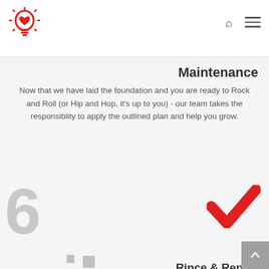[Figure (logo): Red lightbulb/heart logo icon]
Maintenance
Now that we have laid the foundation and you are ready to Rock and Roll (or Hip and Hop, it's up to you) - our team takes the responsiblity to apply the outlined plan and help you grow.
[Figure (other): Large grey number 6 with period and small square, red checkmark on right]
Rince & Repeat
We eyeball our efforts here. Gathering results and insights weekly and monthly allows us to emphasize the winning moves and remove outdated ones.